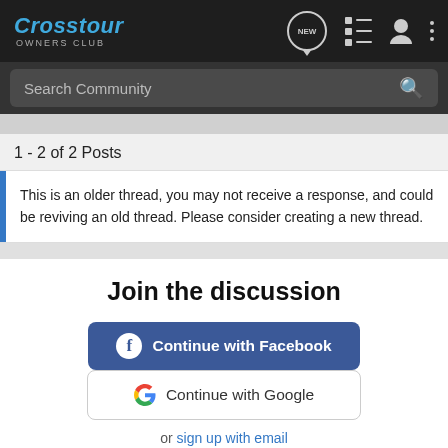Crosstour OWNERS CLUB
Search Community
1 - 2 of 2 Posts
This is an older thread, you may not receive a response, and could be reviving an old thread. Please consider creating a new thread.
Join the discussion
Continue with Facebook
Continue with Google
or sign up with email